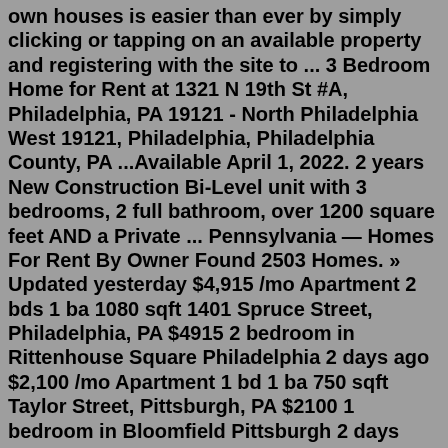own houses is easier than ever by simply clicking or tapping on an available property and registering with the site to ... 3 Bedroom Home for Rent at 1321 N 19th St #A, Philadelphia, PA 19121 - North Philadelphia West 19121, Philadelphia, Philadelphia County, PA ...Available April 1, 2022. 2 years New Construction Bi-Level unit with 3 bedrooms, 2 full bathroom, over 1200 square feet AND a Private ... Pennsylvania — Homes For Rent By Owner Found 2503 Homes. » Updated yesterday $4,915 /mo Apartment 2 bds 1 ba 1080 sqft 1401 Spruce Street, Philadelphia, PA $4915 2 bedroom in Rittenhouse Square Philadelphia 2 days ago $2,100 /mo Apartment 1 bd 1 ba 750 sqft Taylor Street, Pittsburgh, PA $2100 1 bedroom in Bloomfield Pittsburgh 2 days agoPer Census Bureau's most current estimates, 39,477 family households and 22,805 non-family households live in this area. The size of a household in Far Northeast Philadelphia is 2.56 people, on average. The median household annual income in Far Northeast Philadelphia equals